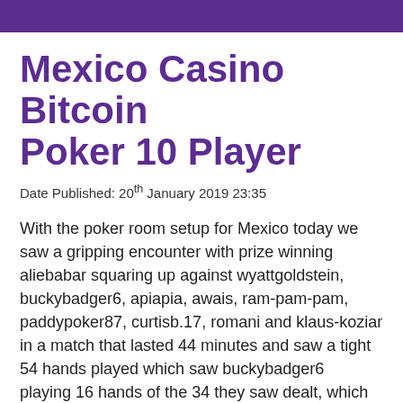Mexico Casino Bitcoin Poker 10 Player
Date Published: 20th January 2019 23:35
With the poker room setup for Mexico today we saw a gripping encounter with prize winning aliebabar squaring up against wyattgoldstein, buckybadger6, apiapia, awais, ram-pam-pam, paddypoker87, curtisb.17, romani and klaus-koziar in a match that lasted 44 minutes and saw a tight 54 hands played which saw buckybadger6 playing 16 hands of the 34 they saw dealt, which went onto see aliebabar becoming the winner and taking the 2,500.00 prize